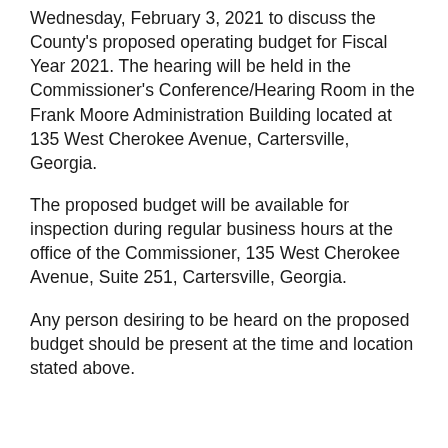Wednesday, February 3, 2021 to discuss the County's proposed operating budget for Fiscal Year 2021. The hearing will be held in the Commissioner's Conference/Hearing Room in the Frank Moore Administration Building located at 135 West Cherokee Avenue, Cartersville, Georgia.
The proposed budget will be available for inspection during regular business hours at the office of the Commissioner, 135 West Cherokee Avenue, Suite 251, Cartersville, Georgia.
Any person desiring to be heard on the proposed budget should be present at the time and location stated above.